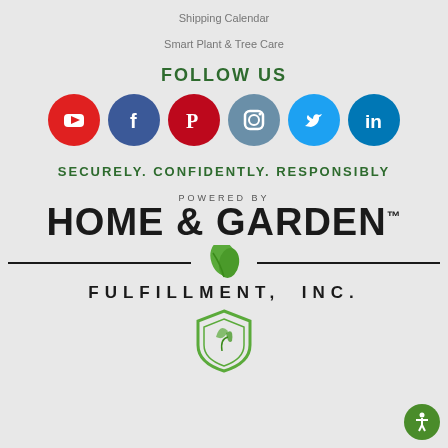Shipping Calendar
Smart Plant & Tree Care
FOLLOW US
[Figure (illustration): Six social media icons in circles: YouTube (red), Facebook (dark blue), Pinterest (red), Instagram (steel blue), Twitter (light blue), LinkedIn (blue)]
SECURELY. CONFIDENTLY. RESPONSIBLY
[Figure (logo): Home & Garden Fulfillment, Inc. logo with leaf graphic and shield icon. Text reads: POWERED BY HOME & GARDEN FULFILLMENT, INC.]